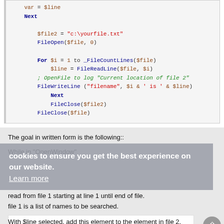[Figure (screenshot): Code block showing AutoIt/scripting code with syntax highlighting. Variables in orange/brown, keywords in dark blue, strings in red, comments in green italic. Shows file operations: $file2 assignment, FileOpen, For loop with _FileCountLines, FileReadLine, comment, FileWriteLine, Next, FileClose calls.]
The goal in written form is the following::
While in "OpenWindow"
read from file 1 starting at line 1 until end of file.
file 1 is a list of names to be searched.
With $line selected, add this element to the element in file 2.
The search of a variables in list 1 and list 2 differ on the amount of